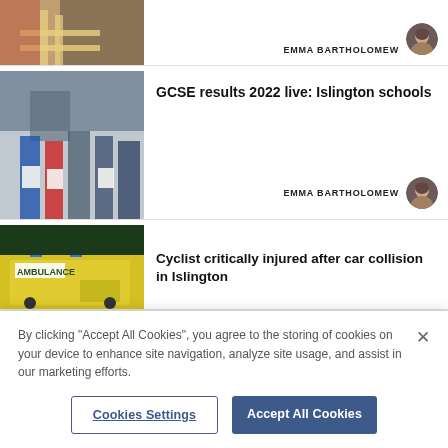[Figure (photo): Partial view of a firefighter in gear with reflective strips]
EMMA BARTHOLOMEW
[Figure (photo): Group of students holding papers, GCSE results day]
GCSE results 2022 live: Islington schools
EMMA BARTHOLOMEW
[Figure (photo): Ambulance with blue lights, yellow AMBULANCE text]
Cyclist critically injured after car collision in Islington
By clicking "Accept All Cookies", you agree to the storing of cookies on your device to enhance site navigation, analyze site usage, and assist in our marketing efforts.
Cookies Settings
Accept All Cookies